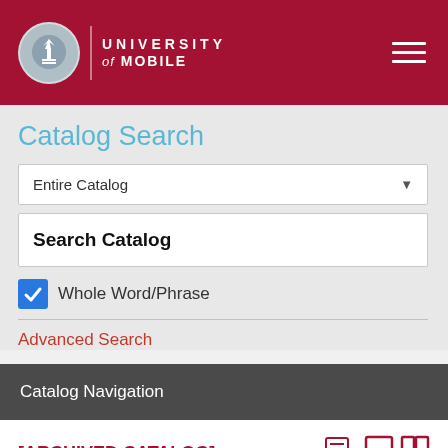UNIVERSITY of MOBILE
Catalog Search
Entire Catalog
Search Catalog
Whole Word/Phrase
Advanced Search
Catalog Navigation
[ARCHIVED CATALOG]